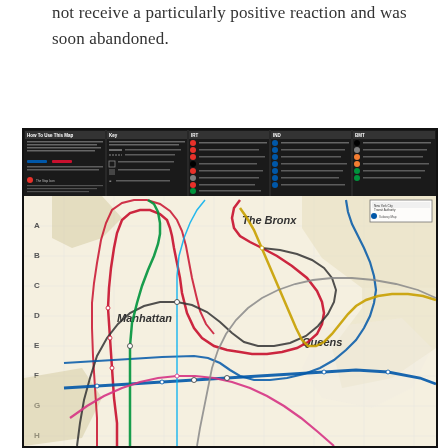not receive a particularly positive reaction and was soon abandoned.
[Figure (map): New York City Subway map showing transit lines across Manhattan, The Bronx, Queens, and surrounding boroughs. The map uses colored lines to represent different subway routes with station markers. Includes a legend/key panel at the top with sections for 'How To Use This Map', 'Key', 'IRT', 'IND', and 'BMT' lines. The map shows borough labels including 'The Bronx', 'Manhattan', and 'Queens', with grid references A through H on the left side.]